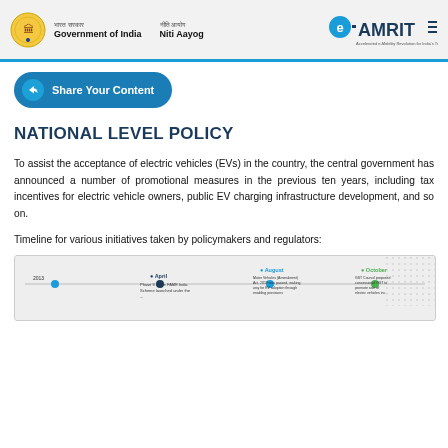Government of India | Niti Aayog | e-AMRIT
[Figure (logo): e-AMRIT logo with Government of India emblem and Niti Aayog branding]
[Figure (infographic): Share Your Content button with arrow icon]
NATIONAL LEVEL POLICY
To assist the acceptance of electric vehicles (EVs) in the country, the central government has announced a number of promotional measures in the previous ten years, including tax incentives for electric vehicle owners, public EV charging infrastructure development, and so on.
Timeline for various initiatives taken by policymakers and regulators:
[Figure (infographic): Timeline strip showing various EV policy initiatives including FAME India scheme (April), August initiatives, and October entries with small text descriptions]